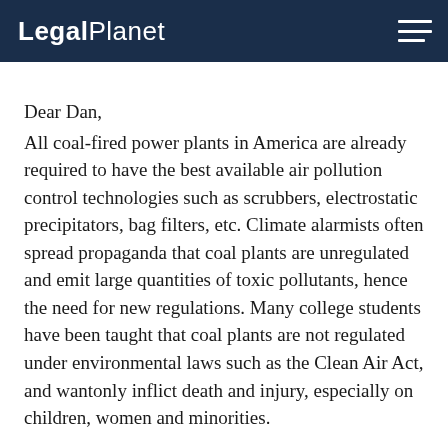LegalPlanet
Dear Dan,
All coal-fired power plants in America are already required to have the best available air pollution control technologies such as scrubbers, electrostatic precipitators, bag filters, etc. Climate alarmists often spread propaganda that coal plants are unregulated and emit large quantities of toxic pollutants, hence the need for new regulations. Many college students have been taught that coal plants are not regulated under environmental laws such as the Clean Air Act, and wantonly inflict death and injury, especially on children, women and minorities.